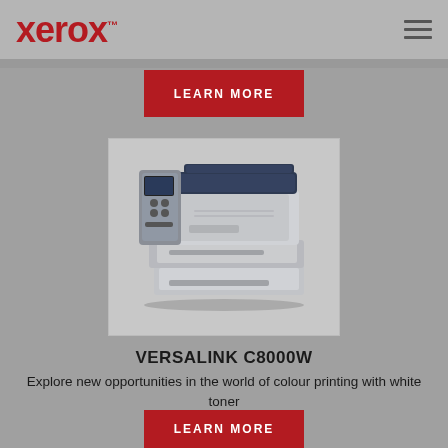xerox™
LEARN MORE
[Figure (photo): Xerox VersaLink C8000W colour printer with white toner, shown in silver/grey and dark navy colour, with paper trays and a small control panel display]
VERSALINK C8000W
Explore new opportunities in the world of colour printing with white toner
LEARN MORE